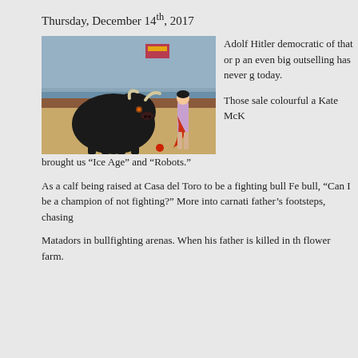Thursday, December 14th, 2017
[Figure (photo): Animated scene showing a large black bull facing a matador holding a red cape in a bullring arena with crowd in background, from the animated film Ferdinand.]
Adolf Hitler democracy of that or p an even big outselling has never g today.
Those sale colourful a Kate McK brought us “Ice Age” and “Robots.”
As a calf being raised at Casa del Toro to be a fighting bull Fe bull, “Can I be a champion of not fighting?” More into carnati father’s footsteps, chasing
Matadors in bullfighting arenas. When his father is killed in th flower farm.